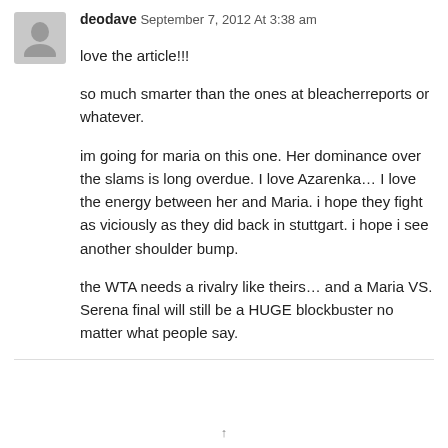deodave September 7, 2012 At 3:38 am
love the article!!!
so much smarter than the ones at bleacherreports or whatever.
im going for maria on this one. Her dominance over the slams is long overdue. I love Azarenka… I love the energy between her and Maria. i hope they fight as viciously as they did back in stuttgart. i hope i see another shoulder bump.
the WTA needs a rivalry like theirs… and a Maria VS. Serena final will still be a HUGE blockbuster no matter what people say.